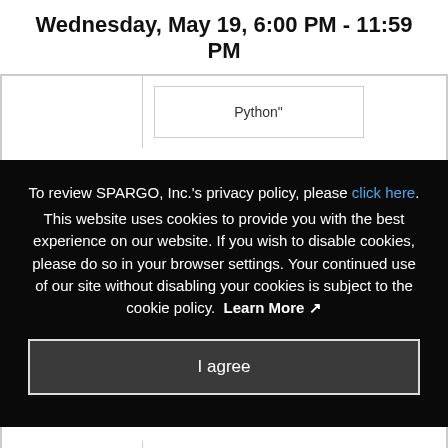Wednesday, May 19, 6:00 PM - 11:59 PM
Python"
To review SPARGO, Inc.'s privacy policy, please click here. This website uses cookies to provide you with the best experience on our website. If you wish to disable cookies, please do so in your browser settings. Your continued use of our site without disabling your cookies is subject to the cookie policy. Learn More
I agree
Organizations Cybersecurity